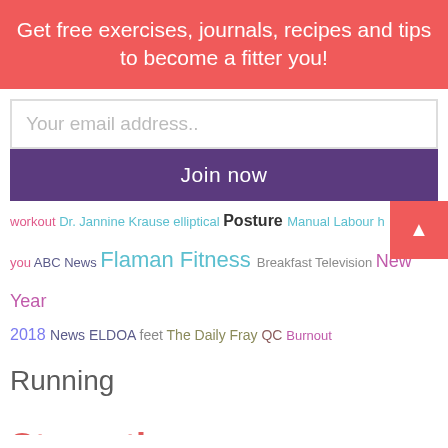Get free exercises, journals, recipes and tips to become a fitter you!
Your email address..
Join now
workout Dr. Jannine Krause elliptical Posture Manual Labour h... you ABC News Flaman Fitness Breakfast Television New Year 2018 News ELDOA feet The Daily Fray QC Burnout Running Strength plank CanFitPro Newsletter Free stuff track your mood New Year Get fit Buzzfeed Fit after 45 Multitasker banded rows Fitness buddy Simply Human brain Self Talk TalkToMe Zoomer Radio dogs Fitness Apps Leg massage treadmill Home Bunny coaching Talk Radio AM640 kettlebells Avoid Weight Gain Desk Job Wallpaper workout while travelling Radio MD Stability Ball